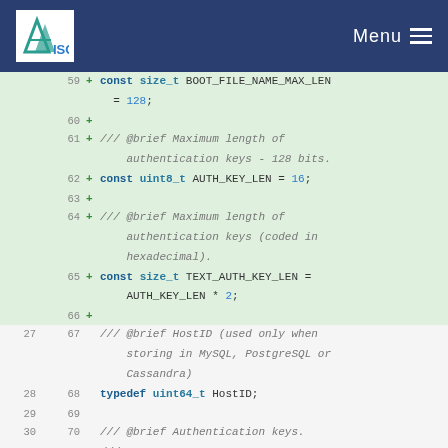ISC Menu
[Figure (screenshot): Code diff view showing C++ constants and typedefs for DHCP-related definitions including BOOT_FILE_NAME_MAX_LEN, AUTH_KEY_LEN, TEXT_AUTH_KEY_LEN, HostID typedef, and Authentication keys comment.]